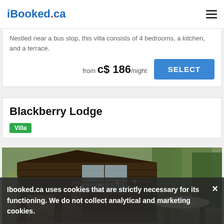iBooked.ca
Nestled near a bus stop, this villa consists of 4 bedrooms, a kitchen, and a terrace.
from c$ 186/night
Blackberry Lodge
Villa
[Figure (photo): Exterior photo of Blackberry Lodge, a dark wood multi-storey villa with large windows and a staircase, surrounded by trees, with a white patio umbrella visible.]
Ibooked.ca uses cookies that are strictly necessary for its functioning. We do not collect analytical and marketing cookies.